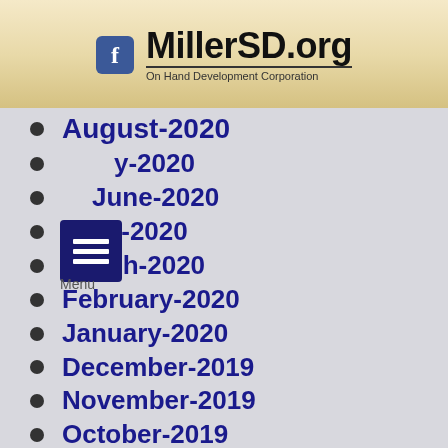MillerSD.org — On Hand Development Corporation
August-2020
July-2020
June-2020
April-2020
March-2020
February-2020
January-2020
December-2019
November-2019
October-2019
September-2019
August-2019
July-2019